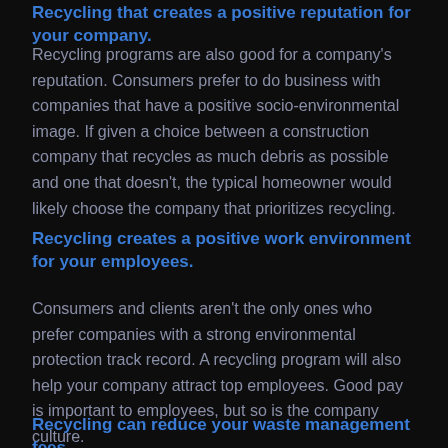Recycling that creates a positive reputation for your company.
Recycling programs are also good for a company's reputation. Consumers prefer to do business with companies that have a positive socio-environmental image. If given a choice between a construction company that recycles as much debris as possible and one that doesn't, the typical homeowner would likely choose the company that prioritizes recycling.
Recycling creates a positive work environment for your employees.
Consumers and clients aren't the only ones who prefer companies with a strong environmental protection track record. A recycling program will also help your company attract top employees. Good pay is important to employees, but so is the company culture.
Recycling can reduce your waste management fees.